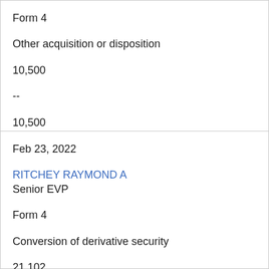Form 4
Other acquisition or disposition
10,500
--
10,500
Feb 23, 2022
RITCHEY RAYMOND A
Senior EVP
Form 4
Conversion of derivative security
21,102